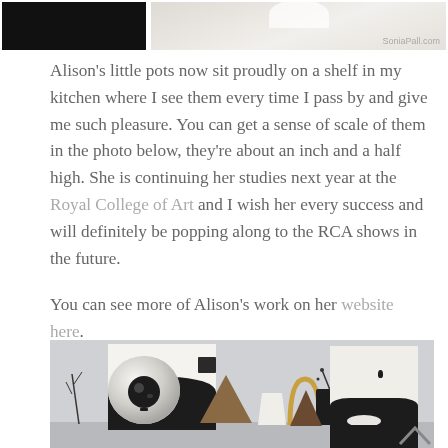[Figure (photo): Two photos side by side at top: left is a dark/black image, right shows a light-colored rounded object on light background with watermark 'SoniaPall.com']
Alison’s little pots now sit proudly on a shelf in my kitchen where I see them every time I pass by and give me such pleasure. You can get a sense of scale of them in the photo below, they’re about an inch and a half high. She is continuing her studies next year at the Royal College of Art and I wish her every success and will definitely be popping along to the RCA shows in the future.
You can see more of Alison’s work on her website here.
[Figure (photo): Photo of a shelf displaying various ceramic objects and art pieces including a large black-and-white canvas, a round white sphere with dark eye detail, a small brown pyramid, small white cone pots, a dark plant in a black pot, and a right-side white canvas with black shape. Objects are arranged on a light grey shelf against a light grey wall.]